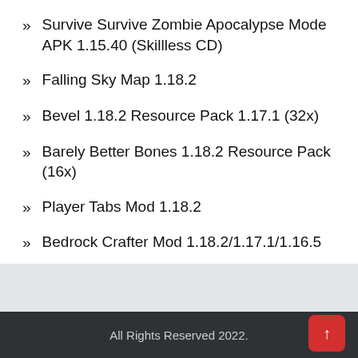Survive Survive Zombie Apocalypse Mode APK 1.15.40 (Skillless CD)
Falling Sky Map 1.18.2
Bevel 1.18.2 Resource Pack 1.17.1 (32x)
Barely Better Bones 1.18.2 Resource Pack (16x)
Player Tabs Mod 1.18.2
Bedrock Crafter Mod 1.18.2/1.17.1/1.16.5
Tooniverse 1.18.2 Resource Pack 1.17.1/1.16.5 (64x)
All Rights Reserved 2022.